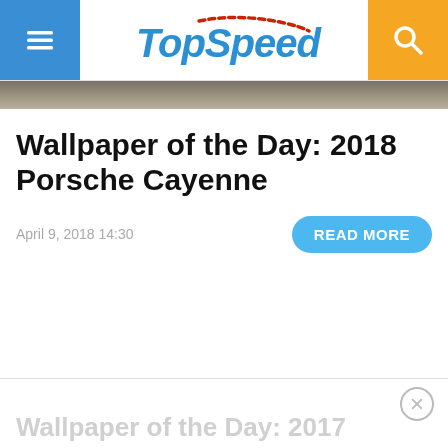TopSpeed
[Figure (photo): Hero image strip showing a grey/brown surface, cropped]
Wallpaper of the Day: 2018 Porsche Cayenne
April 9, 2018 14:30
READ MORE
Wallpaper of the Day: 2017